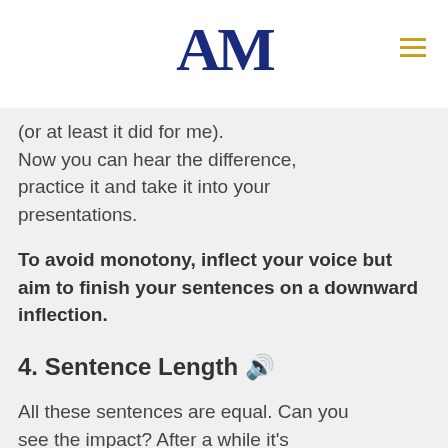AM
(or at least it did for me).
Now you can hear the difference, practice it and take it into your presentations.
To avoid monotony, inflect your voice but aim to finish your sentences on a downward inflection.
4. Sentence Length 🔊
All these sentences are equal. Can you see the impact? After a while it's repetitive.